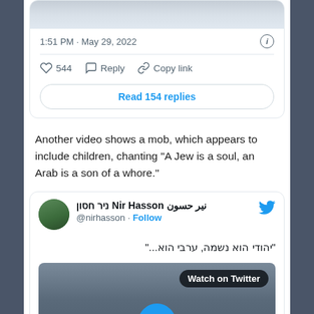[Figure (screenshot): Partial Twitter/X post showing timestamp '1:51 PM · May 29, 2022', info icon, divider, action bar with heart icon '544', Reply, Copy link, and a 'Read 154 replies' button.]
Another video shows a mob, which appears to include children, chanting “A Jew is a soul, an Arab is a son of a whore.”
[Figure (screenshot): Twitter/X post by ניר חסון Nir Hasson نير حسون (@nirhasson) with Follow link and Twitter bird icon. Hebrew text: “יהודי הוא נשמה, ערבי הוא...” followed by a video thumbnail with 'Watch on Twitter' label and a play button.]